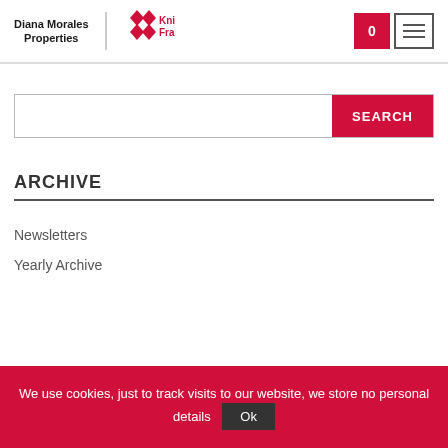Diana Morales Properties | Knight Frank
[Figure (screenshot): Search bar with SEARCH button]
ARCHIVE
Newsletters
Yearly Archive
We use cookies, just to track visits to our website, we store no personal details ok